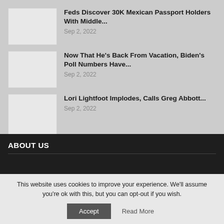Feds Discover 30K Mexican Passport Holders With Middle... Sep 2, 2022
Now That He's Back From Vacation, Biden's Poll Numbers Have... Sep 2, 2022
Lori Lightfoot Implodes, Calls Greg Abbott... Sep 2, 2022
ABOUT US
This website uses cookies to improve your experience. We'll assume you're ok with this, but you can opt-out if you wish.